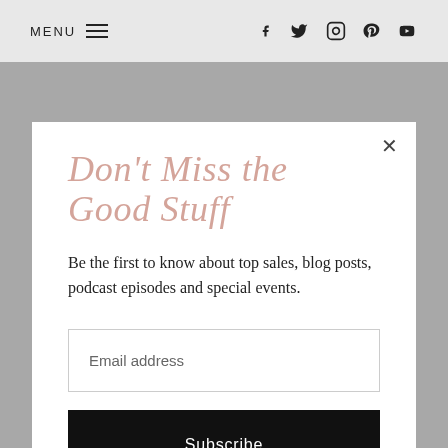MENU | f | Twitter | Instagram | Pinterest | YouTube
Don't Miss the Good Stuff
Be the first to know about top sales, blog posts, podcast episodes and special events.
Email address
Subscribe
perfect every day heel height, but the bold and neutral color options make them the ultimate